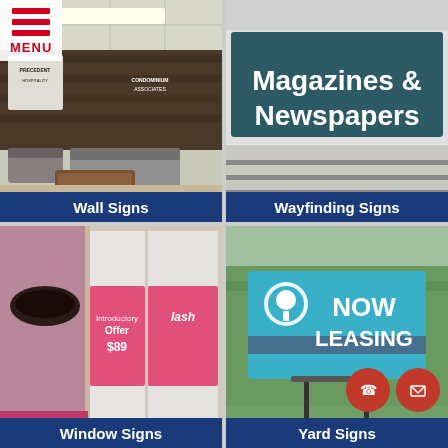[Figure (photo): Interior office lobby with gray sofas, wood coffee table, and wall-mounted logo signs for Precedent Hospitality and Condominium Associates]
Wall Signs
[Figure (photo): Retail store overhead sign reading 'Magazines & Newspapers' in white text on dark teal background]
Wayfinding Signs
[Figure (photo): Storefront window display with large photo graphics and pink door graphics showing 'Introductory Offer $89 lash' promotional signage]
Window Signs
[Figure (photo): Yard sign in lawn showing 'NOW LEASING' in white text on teal background with tree/circle logo, mounted on metal stake]
Yard Signs